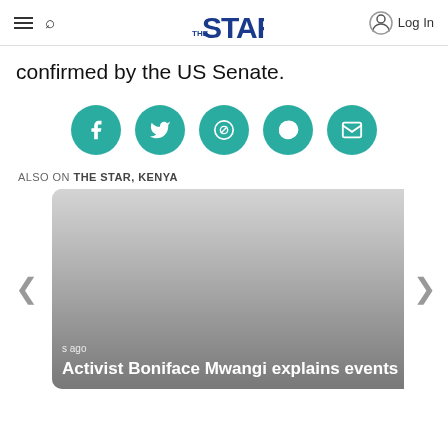THE STAR — Log In
confirmed by the US Senate.
[Figure (infographic): Five teal circular social share buttons: Facebook, Twitter, WhatsApp, Pinterest, Email]
ALSO ON THE STAR, KENYA
[Figure (infographic): Two news article cards side by side with navigation arrows. Left card: 'Activist Boniface Mwangi explains events behind ...' Right card: '6 hours ago • 1 comment — IEBC gazettes all Senators and MCAs']